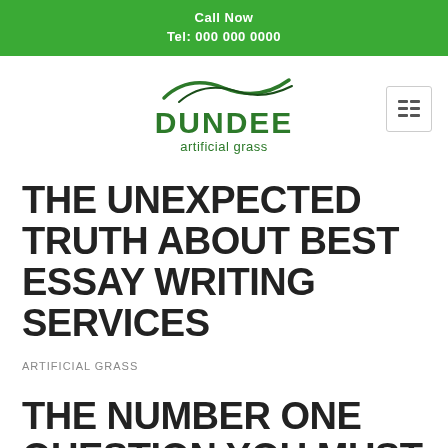Call Now
Tel: 000 000 0000
[Figure (logo): Dundee Artificial Grass logo with green wave graphic above the text DUNDEE in bold green capitals and 'artificial grass' in smaller green text below]
THE UNEXPECTED TRUTH ABOUT BEST ESSAY WRITING SERVICES
ARTIFICIAL GRASS
THE NUMBER ONE QUESTION YOU MUST ASK